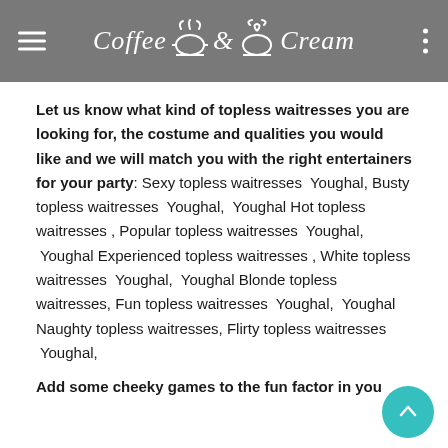Coffee & Cream
Let us know what kind of topless waitresses you are looking for, the costume and qualities you would like and we will match you with the right entertainers for your party: Sexy topless waitresses  Youghal, Busty topless waitresses  Youghal,  Youghal Hot topless waitresses , Popular topless waitresses  Youghal,  Youghal Experienced topless waitresses , White topless waitresses  Youghal,  Youghal Blonde topless waitresses, Fun topless waitresses  Youghal,  Youghal Naughty topless waitresses, Flirty topless waitresses  Youghal,
Add some cheeky games to the fun factor in you